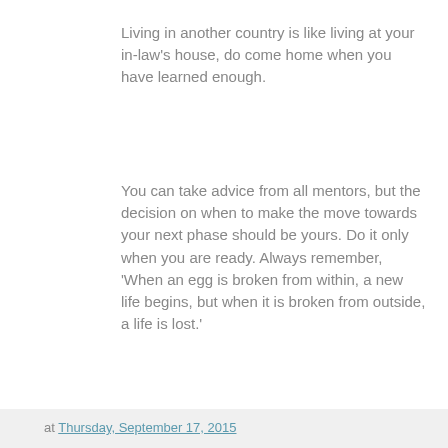Living in another country is like living at your in-law's house, do come home when you have learned enough.
You can take advice from all mentors, but the decision on when to make the move towards your next phase should be yours. Do it only when you are ready. Always remember, 'When an egg is broken from within, a new life begins, but when it is broken from outside, a life is lost.'
Take children to funerals, not just weddings. If they were living in their native place, kids would see an equal number of funerals and accept death as natural process.
at Thursday, September 17, 2015